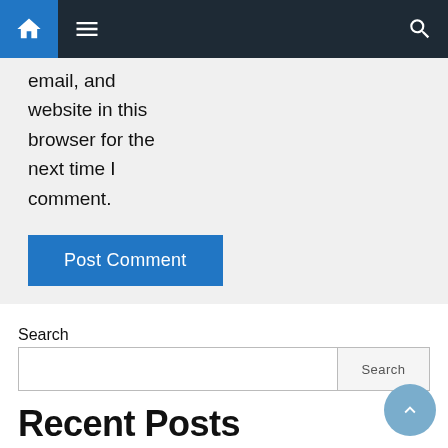Navigation bar with home, menu, and search icons
email, and website in this browser for the next time I comment.
Post Comment
Search
Search input and Search button
Recent Posts
5 Ways to Extract Text from Image Online
Top Things To Keep In Mind About Mobile Application Security